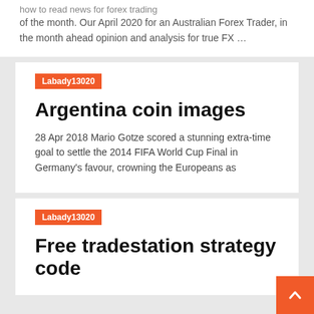how to read news for forex trading
of the month. Our April 2020 for an Australian Forex Trader, in the month ahead opinion and analysis for true FX …
Labady13020
Argentina coin images
28 Apr 2018 Mario Gotze scored a stunning extra-time goal to settle the 2014 FIFA World Cup Final in Germany's favour, crowning the Europeans as
Labady13020
Free tradestation strategy code